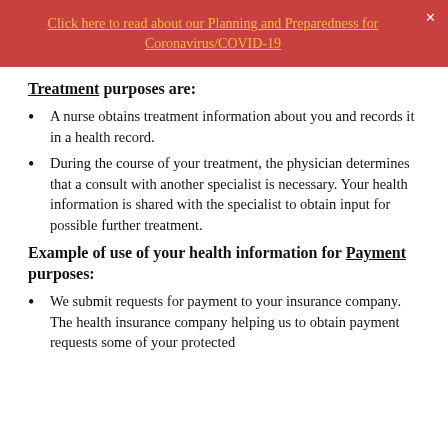Click here to read about our Planning and Preparedness for Coronavirus/COVID-19
Treatment purposes are:
A nurse obtains treatment information about you and records it in a health record.
During the course of your treatment, the physician determines that a consult with another specialist is necessary. Your health information is shared with the specialist to obtain input for possible further treatment.
Example of use of your health information for Payment purposes:
We submit requests for payment to your insurance company. The health insurance company helping us to obtain payment requests some of your protected